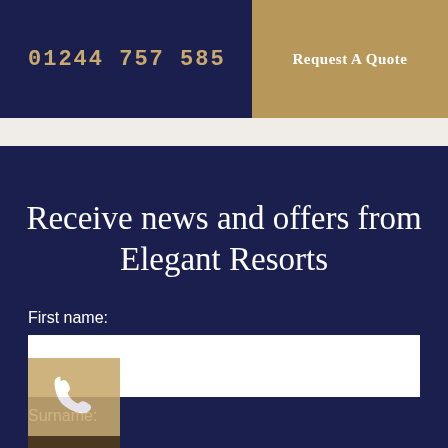01244 757 585
Request A Quote
Receive news and offers from Elegant Resorts
First name:
Surname: